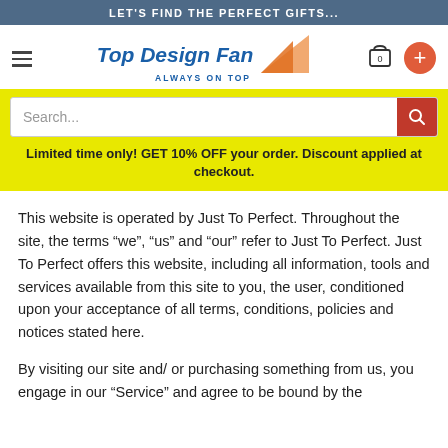LET'S FIND THE PERFECT GIFTS...
[Figure (logo): Top Design Fan logo with orange geometric triangle and blue text reading 'Top Design Fan' and tagline 'ALWAYS ON TOP', plus hamburger menu, cart icon with 0, and orange plus button]
Search...
Limited time only! GET 10% OFF your order. Discount applied at checkout.
This website is operated by Just To Perfect. Throughout the site, the terms “we”, “us” and “our” refer to Just To Perfect. Just To Perfect offers this website, including all information, tools and services available from this site to you, the user, conditioned upon your acceptance of all terms, conditions, policies and notices stated here.
By visiting our site and/ or purchasing something from us, you engage in our "Service" and agree to be bound by the